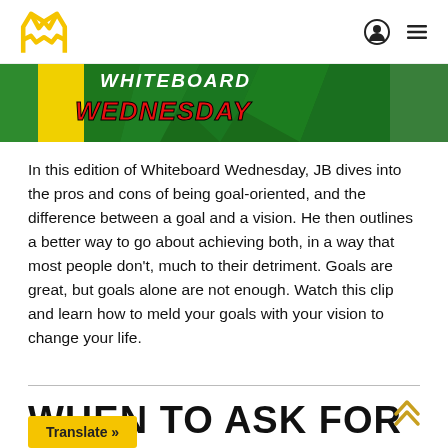[Figure (logo): Yellow fox/wolf head logo in outline style]
[Figure (photo): Whiteboard Wednesday banner image with green, yellow background and red WEDNESDAY text]
In this edition of Whiteboard Wednesday, JB dives into the pros and cons of being goal-oriented, and the difference between a goal and a vision. He then outlines a better way to go about achieving both, in a way that most people don't, much to their detriment. Goals are great, but goals alone are not enough. Watch this clip and learn how to meld your goals with your vision to change your life.
WHEN TO ASK FOR